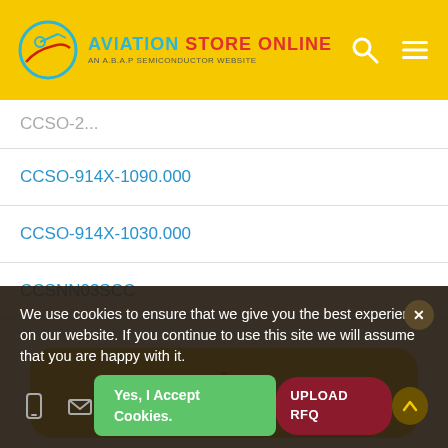AVIATION STORE ONLINE — AN A.B.A.P SEMICONDUCTOR WEBSITE
| CCSO-2... |
| CCSO-914X-1090.000 |
| CCSO-914X-1030.000 |
| CCSNN03SCC |
[Figure (logo): Yellow promo box with red KA logo/icon]
We use cookies to ensure that we give you the best experience on our website. If you continue to use this site we will assume that you are happy with it.